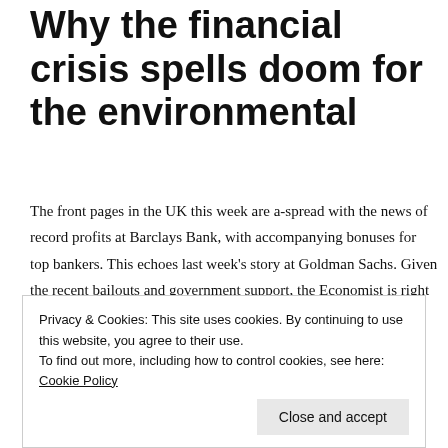Why the financial crisis spells doom for the environmental
The front pages in the UK this week are a-spread with the news of record profits at Barclays Bank, with accompanying bonuses for top bankers. This echoes last week's story at Goldman Sachs. Given the recent bailouts and government support, the Economist is right to note that 'such largesse looks cheeky at best'!

Although the
Privacy & Cookies: This site uses cookies. By continuing to use this website, you agree to their use. To find out more, including how to control cookies, see here: Cookie Policy